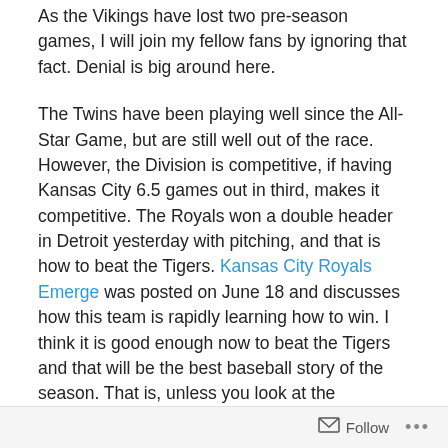As the Vikings have lost two pre-season games, I will join my fellow fans by ignoring that fact. Denial is big around here.
The Twins have been playing well since the All-Star Game, but are still well out of the race. However, the Division is competitive, if having Kansas City 6.5 games out in third, makes it competitive. The Royals won a double header in Detroit yesterday with pitching, and that is how to beat the Tigers. Kansas City Royals Emerge was posted on June 18 and discusses how this team is rapidly learning how to win. I think it is good enough now to beat the Tigers and that will be the best baseball story of the season. That is, unless you look at the Dodgers, who were in last place in June and have won 41 of 49 games since.  This is the triumph of baseball culture as this team played horribly,
Follow ...